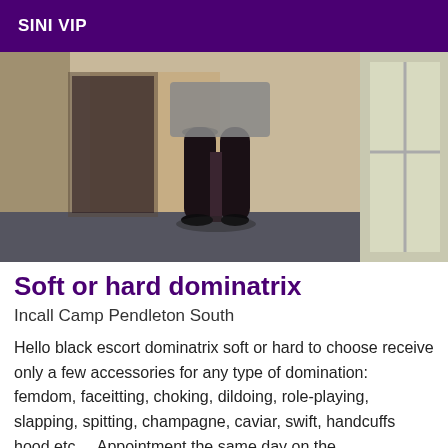SINI VIP
[Figure (photo): Photo showing a person's legs in black stockings standing in a hallway or doorway, wearing a short skirt. The background shows a beige wall and a window on the right.]
Soft or hard dominatrix
Incall Camp Pendleton South
Hello black escort dominatrix soft or hard to choose receive only a few accessories for any type of domination: femdom, faceitting, choking, dildoing, role-playing, slapping, spitting, champagne, caviar, swift, handcuffs hood etc.... Appointment the same day on the